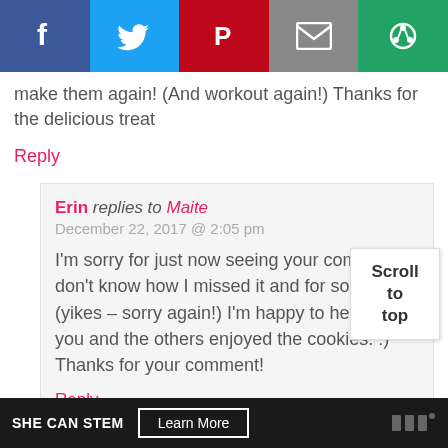[Figure (screenshot): Social share bar with Facebook, Twitter, Pinterest, Email, and another sharing icon buttons]
make them again! (And workout again!) Thanks for the delicious treat
Reply
Erin replies to Maite
December 22, 2017 @ 2:05 pm
I'm sorry for just now seeing your comment! I don't know how I missed it and for so long (yikes – sorry again!) I'm happy to hear that you and the others enjoyed the cookies. :) Thanks for your comment!
Reply
Scroll
to
top
SHE CAN STEM  Learn More